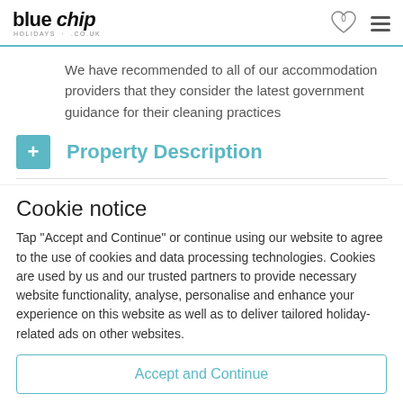blue chip holidays .co.uk
We have recommended to all of our accommodation providers that they consider the latest government guidance for their cleaning practices
+ Property Description
Cookie notice
Tap "Accept and Continue" or continue using our website to agree to the use of cookies and data processing technologies. Cookies are used by us and our trusted partners to provide necessary website functionality, analyse, personalise and enhance your experience on this website as well as to deliver tailored holiday-related ads on other websites.
Accept and Continue